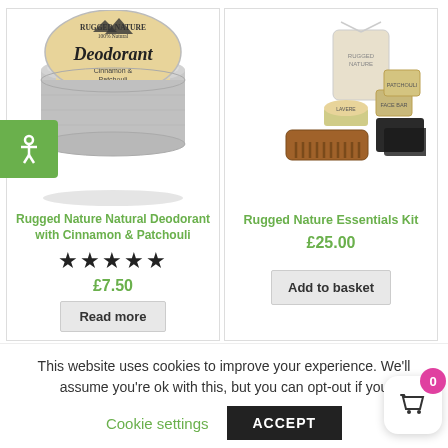[Figure (photo): Rugged Nature Natural Deodorant tin with Cinnamon & Patchouli label, silver tin container]
[Figure (photo): Rugged Nature Essentials Kit showing a wooden comb, small tin, soap bars, cloth bag, and black cloth]
Rugged Nature Natural Deodorant with Cinnamon & Patchouli
Rugged Nature Essentials Kit
★★★★★
£7.50
£25.00
Read more
Add to basket
This website uses cookies to improve your experience. We'll assume you're ok with this, but you can opt-out if you
Cookie settings
ACCEPT
0